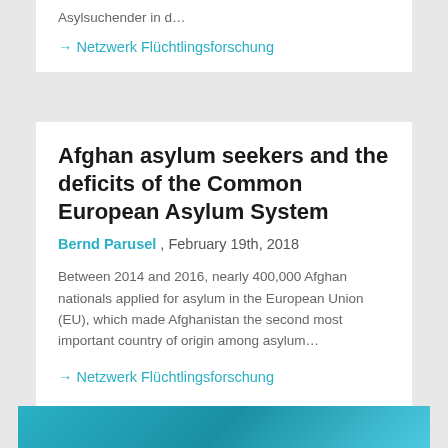Asylsuchender in d…
→ Netzwerk Flüchtlingsforschung
Afghan asylum seekers and the deficits of the Common European Asylum System
Bernd Parusel , February 19th, 2018
Between 2014 and 2016, nearly 400,000 Afghan nationals applied for asylum in the European Union (EU), which made Afghanistan the second most important country of origin among asylum…
→ Netzwerk Flüchtlingsforschung
[Figure (photo): A photo partially visible at the bottom of the page, appears to show a blue/teal toned image]